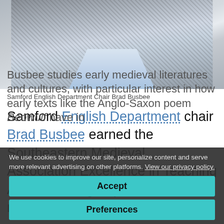[Figure (photo): Photo of Samford English Department Chair Brad Busbee, showing torso in grey houndstooth jacket and light blue shirt]
Samford English Department Chair Brad Busbee
Samford English Department chair Brad Busbee earned the Southeastern Medieval Association Excellence in Teaching Award at the group's annual meeting in October.
We use cookies to improve our site, personalize content and serve more relevant advertising on other platforms. View our privacy policy.
Accept
Preferences
Busbee studies early medieval literatures and cultures, with particular interest in how early texts like the Anglo-Saxon poem Beowulf have in